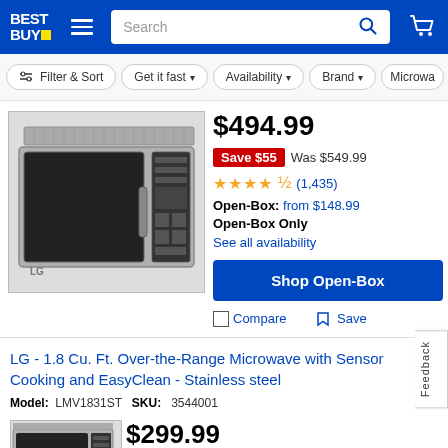[Figure (screenshot): Best Buy website header with logo, hamburger menu, search bar, and cart icon on blue background]
Filter & Sort  Get it fast  Availability  Brand  Microwa...
$494.99
Save $55  Was $549.99
★★★★½ (1,435)
Open-Box: from $148.99
Open-Box Only
See all availability
Shop Open-Box
Compare  Save
LG - 1.8 Cu. Ft. Over-the-Range Microwave with Sensor Cooking and EasyClean - Stainless steel
Model: LMV1831ST  SKU: 3544001
$299.99